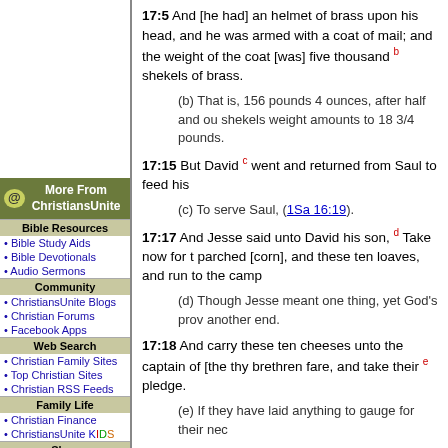17:5 And [he had] an helmet of brass upon his head, and he was armed with a coat of mail; and the weight of the coat [was] five thousand b shekels of brass.
(b) That is, 156 pounds 4 ounces, after half and our shekels weight amounts to 18 3/4 pounds.
17:15 But David c went and returned from Saul to feed his...
(c) To serve Saul, (1Sa 16:19).
17:17 And Jesse said unto David his son, d Take now for thy brethren an ephah of this parched [corn], and these ten loaves, and run to the camp...
(d) Though Jesse meant one thing, yet God's providence directed it to another end.
17:18 And carry these ten cheeses unto the captain of [the] thousand, and look how thy brethren fare, and take their e pledge.
(e) If they have laid anything to gauge for their nec...
17:23 And as he talked with them, behold, there came up the champion, the Philistine of Gath, Goliath by name, out of the armies of the Philistines, and spake according to the same words: and David heard [them].
(f) As in (1Sa 17:8,9).
17:25 And the men of Israel said, Have ye seen this man that is come up? surely to defy Israel is he come up: and it shall be, [that] the man who ki...
More From ChristiansUnite
Bible Resources
Bible Study Aids
Bible Devotionals
Audio Sermons
Community
ChristiansUnite Blogs
Christian Forums
Facebook Apps
Web Search
Christian Family Sites
Top Christian Sites
Christian RSS Feeds
Family Life
Christian Finance
ChristiansUnite KIDS
Shop
Christian Magazines
Christian Book Store
Read
Christian News
Christian Columns
Christian Song Lyrics